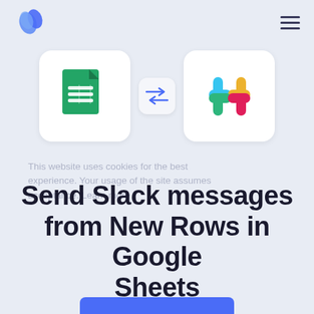[Figure (logo): Blue teardrop/pill shaped logo icon in top left]
[Figure (illustration): Google Sheets icon on white rounded square, bidirectional arrows in small white box, Slack logo on white rounded rectangle]
This website uses cookies for the best experience. Your usage of the site assumes acceptance. Learn more
Send Slack messages from New Rows in Google Sheets